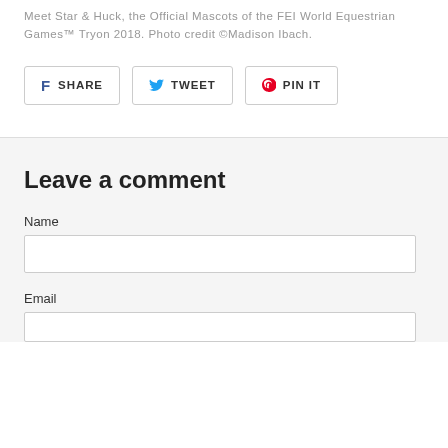Meet Star & Huck, the Official Mascots of the FEI World Equestrian Games™ Tryon 2018. Photo credit ©Madison Ibach.
SHARE | TWEET | PIN IT
Leave a comment
Name
Email